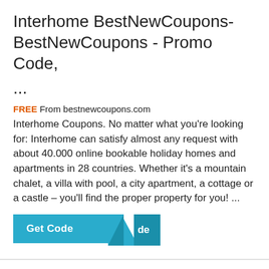Interhome BestNewCoupons-BestNewCoupons - Promo Code, ...
FREE From bestnewcoupons.com
Interhome Coupons. No matter what you're looking for: Interhome can satisfy almost any request with about 40.000 online bookable holiday homes and apartments in 28 countries. Whether it's a mountain chalet, a villa with pool, a city apartment, a cottage or a castle – you'll find the proper property for you! ...
[Figure (other): Get Code button in teal/blue with a folded corner reveal effect showing 'de' text]
Upto 75% Interhome Coupon Code » [Verified] $10 Promo and deals